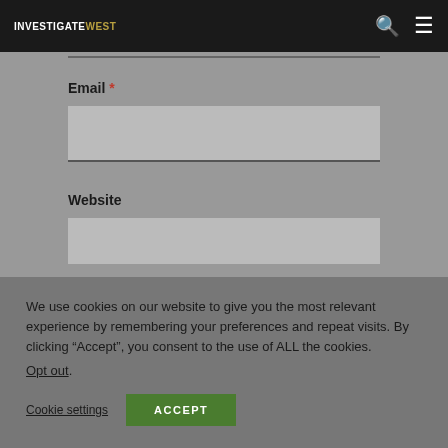INVESTIGATEWEST [logo with navigation icons]
Email *
Website
We use cookies on our website to give you the most relevant experience by remembering your preferences and repeat visits. By clicking “Accept”, you consent to the use of ALL the cookies.
Opt out.
Cookie settings   ACCEPT